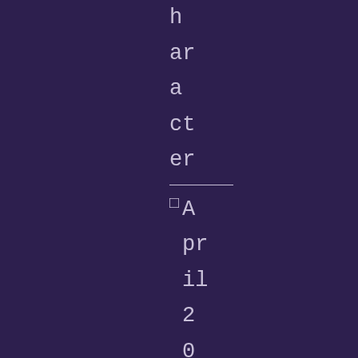h ar a ct er
□ April 2010 London Retret